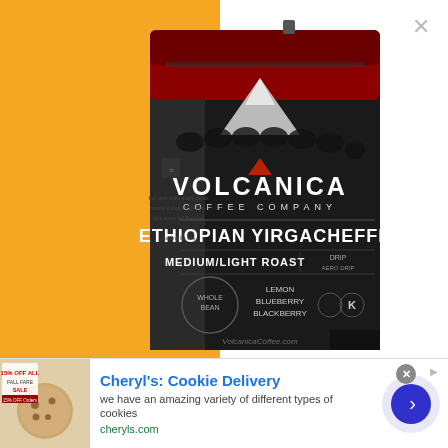[Figure (photo): Volcanica Coffee Company Ethiopian Yirgacheffe Medium/Light Roast coffee bag on yellow and white background. Black bag with red top and volcanic mountain imagery. Close button (×) in top right.]
[Figure (infographic): Advertisement banner for Cheryl's Cookie Delivery. Shows cookies image on left with sale text. Ad title: Cheryl's: Cookie Delivery. Description: we have an amazing variety of different types of cookies. URL: cheryls.com. Blue arrow CTA button on right. Close (×) and sponsored arrow icons.]